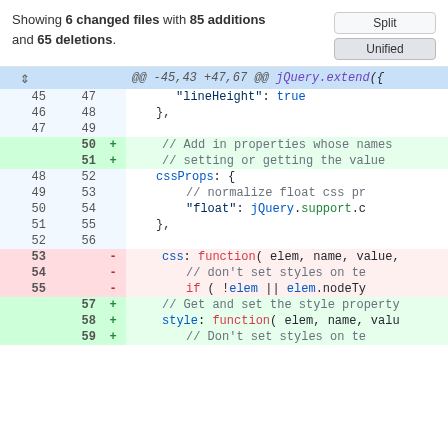Showing 6 changed files with 85 additions and 65 deletions.
| old | new | marker | code |
| --- | --- | --- | --- |
|  |  | ⇕ | @@ -45,43 +47,67 @@ jQuery.extend({ |
| 45 | 47 |  | "lineHeight": true |
| 46 | 48 |  | }, |
| 47 | 49 |  |  |
|  | 50 | + | // Add in properties whose names |
|  | 51 | + | // setting or getting the value |
| 48 | 52 |  | cssProps: { |
| 49 | 53 |  | // normalize float css pr |
| 50 | 54 |  | "float": jQuery.support.c |
| 51 | 55 |  | }, |
| 52 | 56 |  |  |
| 53 |  | - | css: function( elem, name, value, |
| 54 |  | - | // don't set styles on te |
| 55 |  | - | if ( !elem || elem.nodeTy |
|  | 57 | + | // Get and set the style property |
|  | 58 | + | style: function( elem, name, valu |
|  | 59 | + | // Don't set styles on te |